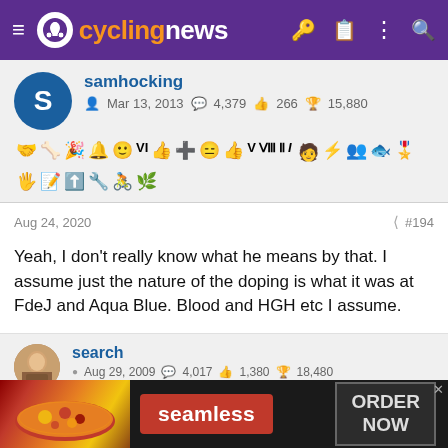cyclingnews
samhocking
Mar 13, 2013  4,379  266  15,880
Aug 24, 2020  #194
Yeah, I don't really know what he means by that. I assume just the nature of the doping is what it was at FdeJ and Aqua Blue. Blood and HGH etc I assume.
search
Aug 29, 2009  4,017  1,380  18,480
[Figure (screenshot): Seamless food delivery advertisement with pizza image and ORDER NOW button]